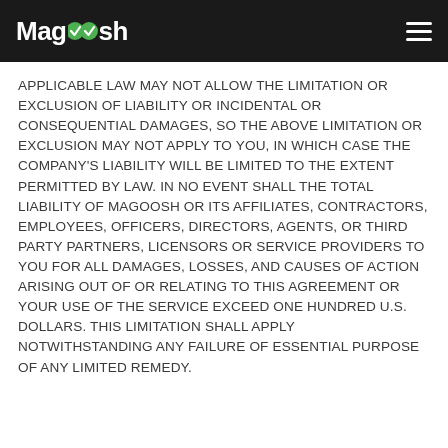Magoosh
APPLICABLE LAW MAY NOT ALLOW THE LIMITATION OR EXCLUSION OF LIABILITY OR INCIDENTAL OR CONSEQUENTIAL DAMAGES, SO THE ABOVE LIMITATION OR EXCLUSION MAY NOT APPLY TO YOU, IN WHICH CASE THE COMPANY'S LIABILITY WILL BE LIMITED TO THE EXTENT PERMITTED BY LAW. IN NO EVENT SHALL THE TOTAL LIABILITY OF MAGOOSH OR ITS AFFILIATES, CONTRACTORS, EMPLOYEES, OFFICERS, DIRECTORS, AGENTS, OR THIRD PARTY PARTNERS, LICENSORS OR SERVICE PROVIDERS TO YOU FOR ALL DAMAGES, LOSSES, AND CAUSES OF ACTION ARISING OUT OF OR RELATING TO THIS AGREEMENT OR YOUR USE OF THE SERVICE EXCEED ONE HUNDRED U.S. DOLLARS. THIS LIMITATION SHALL APPLY NOTWITHSTANDING ANY FAILURE OF ESSENTIAL PURPOSE OF ANY LIMITED REMEDY.